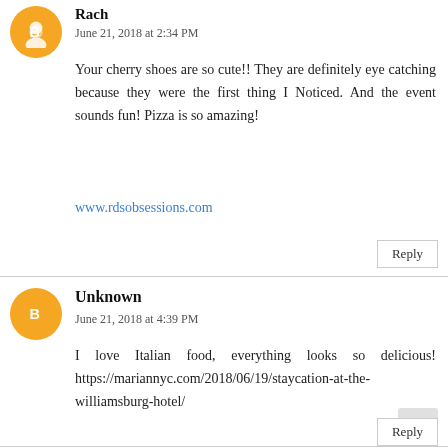Rach
June 21, 2018 at 2:34 PM
Your cherry shoes are so cute!! They are definitely eye catching because they were the first thing I Noticed. And the event sounds fun! Pizza is so amazing!
www.rdsobsessions.com
Reply
Unknown
June 21, 2018 at 4:39 PM
I love Italian food, everything looks so delicious! https://mariannyc.com/2018/06/19/staycation-at-the-williamsburg-hotel/
Reply